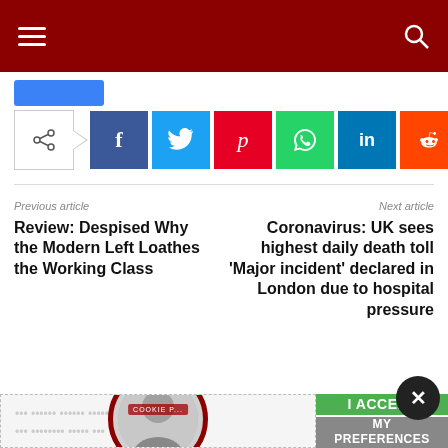Navigation header with hamburger menu and search icon
[Figure (screenshot): Social share bar with share icon and buttons for Facebook, Twitter, Pinterest, WhatsApp, LinkedIn, Reddit, Email]
Previous article
Next article
Review: Despised Why the Modern Left Loathes the Working Class
Coronavirus: UK sees highest daily death toll 'Major incident' declared in London due to hospital pressure
Cookie Policy
I ACCEPT
MY PREFERENCES